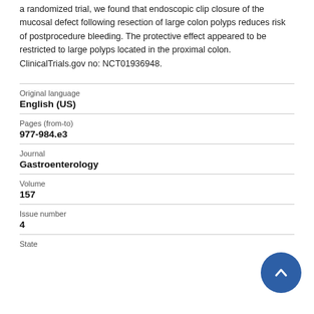a randomized trial, we found that endoscopic clip closure of the mucosal defect following resection of large colon polyps reduces risk of postprocedure bleeding. The protective effect appeared to be restricted to large polyps located in the proximal colon. ClinicalTrials.gov no: NCT01936948.
| Field | Value |
| --- | --- |
| Original language | English (US) |
| Pages (from-to) | 977-984.e3 |
| Journal | Gastroenterology |
| Volume | 157 |
| Issue number | 4 |
| State |  |